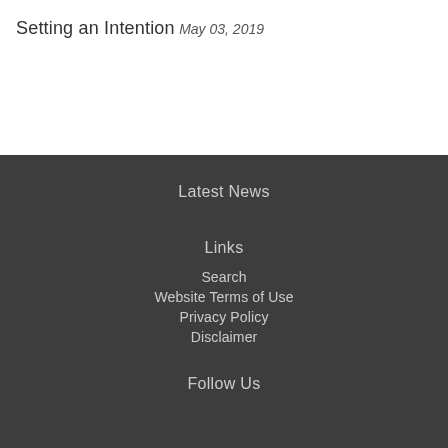Setting an Intention
May 03, 2019
Latest News
Links
Search
Website Terms of Use
Privacy Policy
Disclaimer
Follow Us